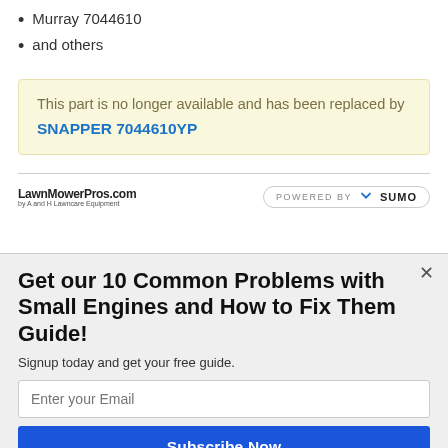Murray 7044610
and others
This part is no longer available and has been replaced by SNAPPER 7044610YP
[Figure (logo): LawnMowerPros.com logo with tagline]
[Figure (logo): Powered by SUMO badge]
Get our 10 Common Problems with Small Engines and How to Fix Them Guide!
Signup today and get your free guide.
Enter your Email
Subscribe Now